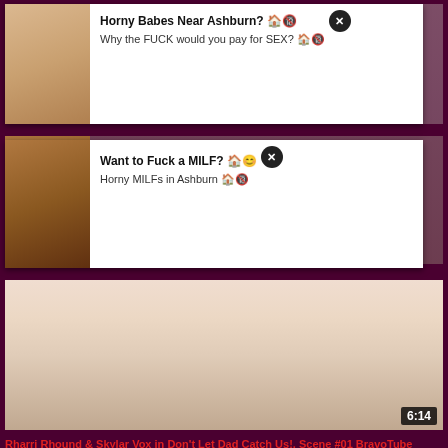[Figure (screenshot): Adult website screenshot showing two popup advertisements overlaid on video thumbnails, with a main video thumbnail and title below]
Horny Babes Near Ashburn? Why the FUCK would you pay for SEX?
Want to Fuck a MILF? Horny MILFs in Ashburn
6:14
Rharri Rhound & Skylar Vox in Don't Let Dad Catch Us!, Scene #01 BravoTube blonde
5858